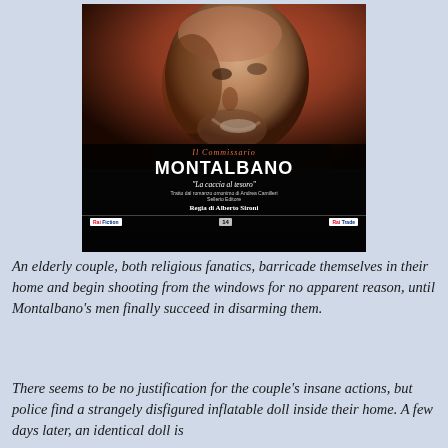[Figure (photo): Movie poster for 'Il Commissario Montalbano - La caccia al tesoro'. Shows a smiling bald man's face on a dark/red background. Text includes: 'Il Commissario', 'MONTALBANO', '"La caccia al tesoro"', 'Tratto dal romanzo omonimo di Andrea Camilleri Sellerio Editore', 'Regia di Alberto Sironi', logos for Rai Fiction and Rai Trade.]
An elderly couple, both religious fanatics, barricade themselves in their home and begin shooting from the windows for no apparent reason, until Montalbano's men finally succeed in disarming them.
There seems to be no justification for the couple's insane actions, but police find a strangely disfigured inflatable doll inside their home. A few days later, an identical doll is